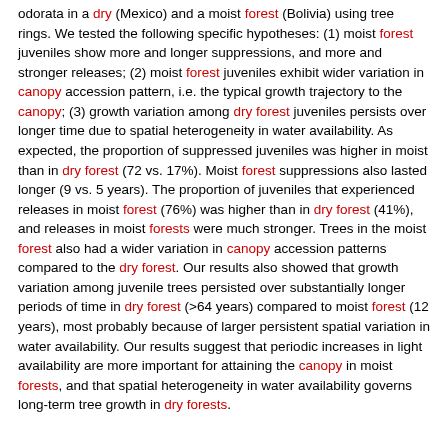odorata in a dry (Mexico) and a moist forest (Bolivia) using tree rings. We tested the following specific hypotheses: (1) moist forest juveniles show more and longer suppressions, and more and stronger releases; (2) moist forest juveniles exhibit wider variation in canopy accession pattern, i.e. the typical growth trajectory to the canopy; (3) growth variation among dry forest juveniles persists over longer time due to spatial heterogeneity in water availability. As expected, the proportion of suppressed juveniles was higher in moist than in dry forest (72 vs. 17%). Moist forest suppressions also lasted longer (9 vs. 5 years). The proportion of juveniles that experienced releases in moist forest (76%) was higher than in dry forest (41%), and releases in moist forests were much stronger. Trees in the moist forest also had a wider variation in canopy accession patterns compared to the dry forest. Our results also showed that growth variation among juvenile trees persisted over substantially longer periods of time in dry forest (>64 years) compared to moist forest (12 years), most probably because of larger persistent spatial variation in water availability. Our results suggest that periodic increases in light availability are more important for attaining the canopy in moist forests, and that spatial heterogeneity in water availability governs long-term tree growth in dry forests.